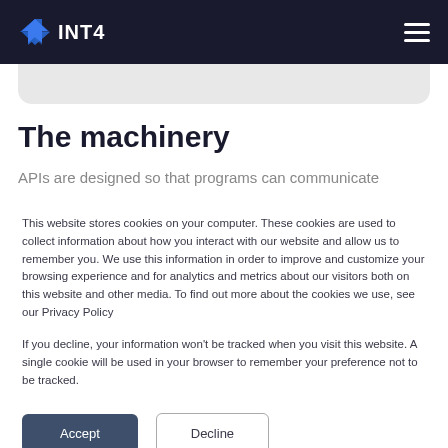INT4
The machinery
APIs are designed so that programs can communicate
This website stores cookies on your computer. These cookies are used to collect information about how you interact with our website and allow us to remember you. We use this information in order to improve and customize your browsing experience and for analytics and metrics about our visitors both on this website and other media. To find out more about the cookies we use, see our Privacy Policy
If you decline, your information won't be tracked when you visit this website. A single cookie will be used in your browser to remember your preference not to be tracked.